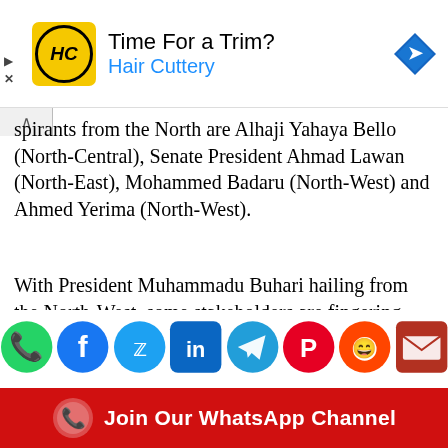[Figure (advertisement): Hair Cuttery ad banner with logo, headline 'Time For a Trim?' and subtext 'Hair Cuttery', plus navigation arrow icon]
spirants from the North are Alhaji Yahaya Bello (North-Central), Senate President Ahmad Lawan (North-East), Mohammed Badaru (North-West) and Ahmed Yerima (North-West).
With President Muhammadu Buhari hailing from the North-West, some stakeholders are fingering Yahaya Bello and Lawan as potential northern consensus candidates for the 2023 presidential election.
[Figure (infographic): Social media share icons row: WhatsApp (green), Facebook (blue), Twitter (light blue), LinkedIn (dark blue), Telegram (blue), Pinterest (red), Reddit (orange), Email (dark red)]
[Figure (infographic): Red banner footer with WhatsApp icon and text 'Join Our WhatsApp Channel' in white]